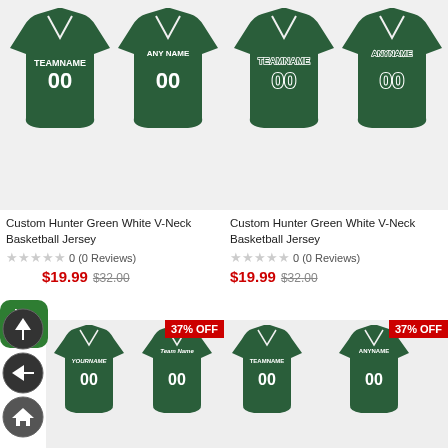[Figure (photo): Two green basketball jerseys (front and back) - Custom Hunter Green White V-Neck Basketball Jersey, left product]
[Figure (photo): Two green basketball jerseys (front and back) - Custom Hunter Green White V-Neck Basketball Jersey, right product with outlined text style]
Custom Hunter Green White V-Neck Basketball Jersey
Custom Hunter Green White V-Neck Basketball Jersey
0 (0 Reviews)
0 (0 Reviews)
$19.99
$32.00
$19.99
$32.00
[Figure (photo): 37% OFF badge, green basketball jersey front and back - bottom left product, partially visible with 'YOURNAME 00' text]
[Figure (photo): 37% OFF badge, green basketball jersey front and back - bottom right product, partially visible with 'TEAMNAME 00' and 'ANYNAME 00' text]